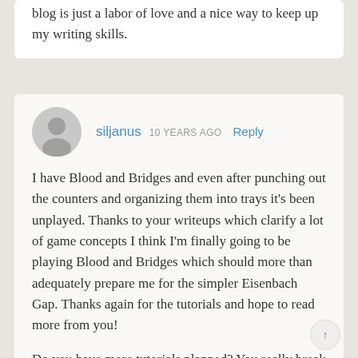blog is just a labor of love and a nice way to keep up my writing skills.
siljanus  10 YEARS AGO  Reply

I have Blood and Bridges and even after punching out the counters and organizing them into trays it's been unplayed. Thanks to your writeups which clarify a lot of game concepts I think I'm finally going to be playing Blood and Bridges which should more than adequately prepare me for the simpler Eisenbach Gap. Thanks again for the tutorials and hope to read more from you!

Do you have more tutorials planned? You really break down the game concepts well! (also your blog isn't blocked at work yet so it makes for entertaining reading)